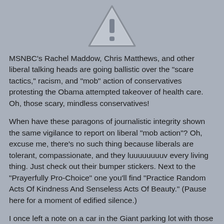[Figure (illustration): A warning/caution triangle icon with exclamation mark, gray tones on gray background]
MSNBC's Rachel Maddow, Chris Matthews, and other liberal talking heads are going ballistic over the "scare tactics," racism, and "mob" action of conservatives protesting the Obama attempted takeover of health care. Oh, those scary, mindless conservatives!
When have these paragons of journalistic integrity shown the same vigilance to report on liberal "mob action"? Oh, excuse me, there's no such thing because liberals are tolerant, compassionate, and they luuuuuuuv every living thing. Just check out their bumper stickers. Next to the "Prayerfully Pro-Choice" one you'll find "Practice Random Acts Of Kindness And Senseless Acts Of Beauty." (Pause here for a moment of edified silence.)
I once left a note on a car in the Giant parking lot with those